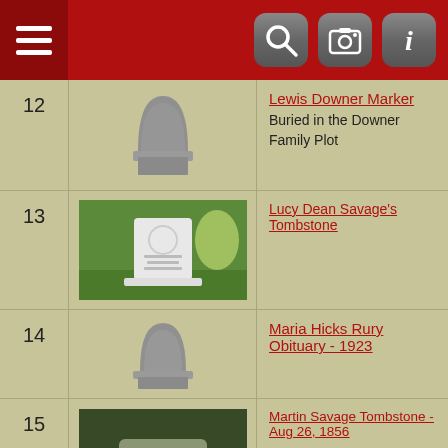Navigation bar with menu, search, camera, and info icons
12 - Lewis Downer Marker - Buried in the Downer Family Plot
13 - Lucy Dean Savage's Tombstone
14 - Maria Hicks Rury Obituary - 1923
15 - Martin Savage Tombstone - Aug 26, 1856 - Hinkle Cemetery, Alcorn County, Mississippi - Martin was the oldest child of Hamilton and Elizabeth (Martin) Savage. Martin married Mary Elizabeth "Polly" Hudspeth on 9 Aug 1819, in Cumberland Co., KY. They were the parents of 5 known children: Giles Hamilton, Elizabeth, Hamilton Silver, Carville, and Catherine. Direction "Kitt"